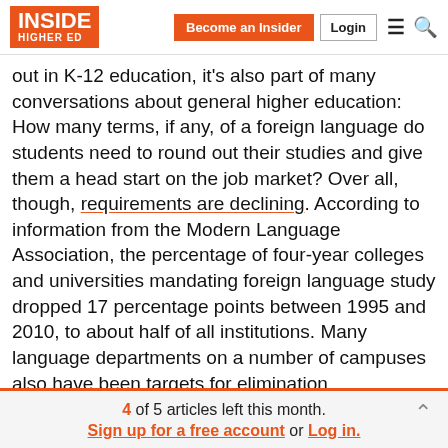INSIDE HIGHER ED | Become an Insider | Login
out in K-12 education, it's also part of many conversations about general higher education: How many terms, if any, of a foreign language do students need to round out their studies and give them a head start on the job market? Over all, though, requirements are declining. According to information from the Modern Language Association, the percentage of four-year colleges and universities mandating foreign language study dropped 17 percentage points between 1995 and 2010, to about half of all institutions. Many language departments on a number of campuses also have been targets for elimination.
4 of 5 articles left this month. Sign up for a free account or Log in.